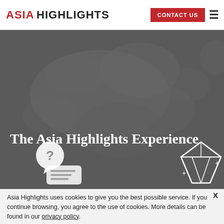ASIA HIGHLIGHTS | CONTACT US
The Asia Highlights Experience
[Figure (illustration): Chat bubble with question mark icon and message list icon (white on dark background), and diamond/gem icon with sparkles (white outline on dark background)]
Asia Highlights uses cookies to give you the best possible service. If you continue browsing, you agree to the use of cookies. More details can be found in our privacy policy.